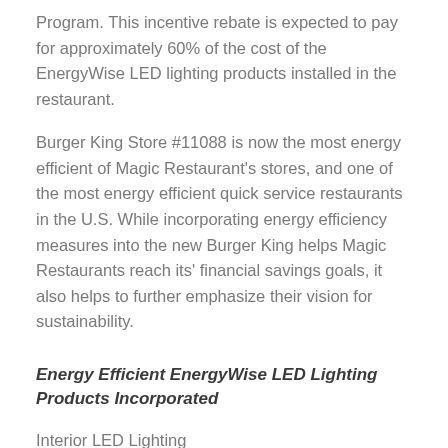Program. This incentive rebate is expected to pay for approximately 60% of the cost of the EnergyWise LED lighting products installed in the restaurant.
Burger King Store #11088 is now the most energy efficient of Magic Restaurant's stores, and one of the most energy efficient quick service restaurants in the U.S. While incorporating energy efficiency measures into the new Burger King helps Magic Restaurants reach its' financial savings goals, it also helps to further emphasize their vision for sustainability.
Energy Efficient EnergyWise LED Lighting Products Incorporated
Interior LED Lighting